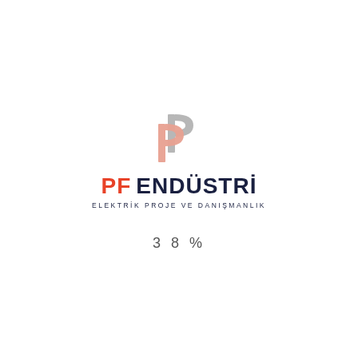[Figure (logo): PF Endüstri logo with two overlapping P letter marks (one salmon/pink, one grey) above the text 'PF ENDÜSTRİ' and subtitle 'ELEKTRİK PROJE VE DANIŞMANLIK']
38%